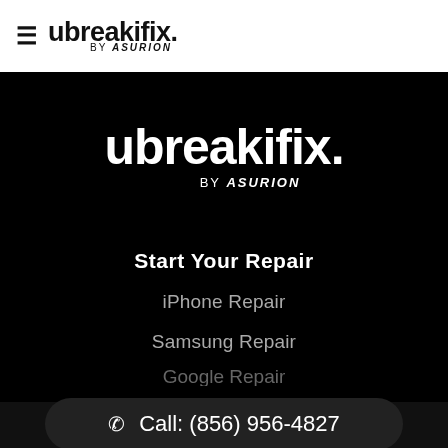[Figure (logo): ubreakifix by Asurion logo in header bar with hamburger menu icon on white background]
[Figure (logo): ubreakifix by Asurion logo centered on black background]
Start Your Repair
iPhone Repair
Samsung Repair
Call: (856) 956-4827